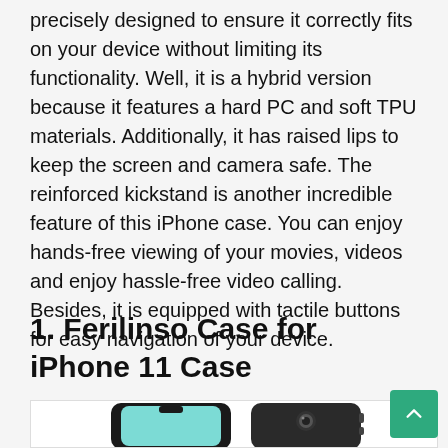precisely designed to ensure it correctly fits on your device without limiting its functionality. Well, it is a hybrid version because it features a hard PC and soft TPU materials. Additionally, it has raised lips to keep the screen and camera safe. The reinforced kickstand is another incredible feature of this iPhone case. You can enjoy hands-free viewing of your movies, videos and enjoy hassle-free video calling. Besides, it is equipped with tactile buttons for easy navigation of your device.
1. Ferilinso Case for iPhone 11 Case
[Figure (photo): Photo of Ferilinso iPhone 11 case showing a black protective case with a phone inside it, with a teal/green screen visible]